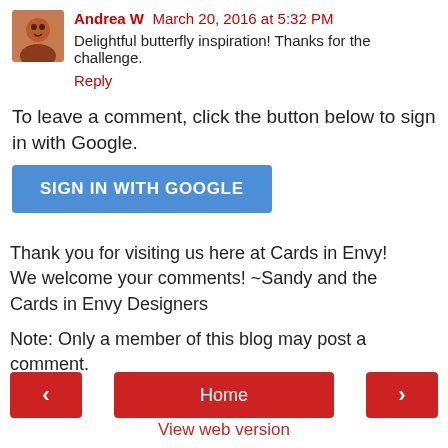Andrea W March 20, 2016 at 5:32 PM
Delightful butterfly inspiration! Thanks for the challenge.
Reply
To leave a comment, click the button below to sign in with Google.
[Figure (other): SIGN IN WITH GOOGLE button - blue rounded rectangle]
Thank you for visiting us here at Cards in Envy! We welcome your comments! ~Sandy and the Cards in Envy Designers
Note: Only a member of this blog may post a comment.
< Home > View web version